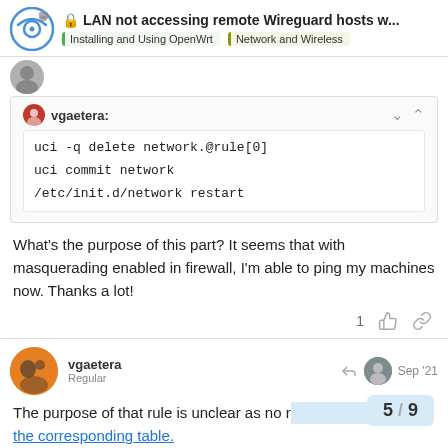LAN not accessing remote Wireguard hosts w... | Installing and Using OpenWrt | Network and Wireless
vgaetera:
uci -q delete network.@rule[0]
uci commit network
/etc/init.d/network restart
What's the purpose of this part? It seems that with masquerading enabled in firewall, I'm able to ping my machines now. Thanks a lot!
1
vgaetera
Regular
Sep '21
The purpose of that rule is unclear as no re
the corresponding table.
5 / 9